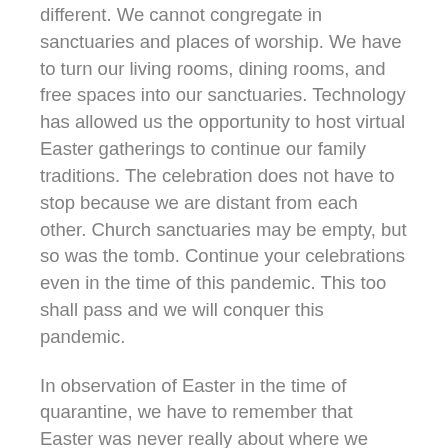different. We cannot congregate in sanctuaries and places of worship. We have to turn our living rooms, dining rooms, and free spaces into our sanctuaries. Technology has allowed us the opportunity to host virtual Easter gatherings to continue our family traditions.  The celebration does not have to stop because we are distant from each other.  Church sanctuaries may be empty, but so was the tomb.  Continue your celebrations even in the time of this pandemic.  This too shall pass and we will conquer this pandemic.
In observation of Easter in the time of quarantine, we have to remember that Easter was never really about where we gathered.  It is not about our clothes or even an Easter basket filled with goodies. It is not about the feast that we will no doubt enjoy.  But it is about the fact that the Messiah willingly became the sacrificial lamb so that our sins may be pardoned and the gates of heaven could be opened for all who